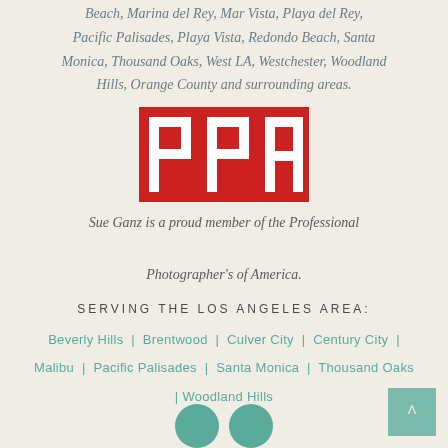Beach, Marina del Rey, Mar Vista, Playa del Rey, Pacific Palisades, Playa Vista, Redondo Beach, Santa Monica, Thousand Oaks, West LA, Westchester, Woodland Hills, Orange County and surrounding areas.
[Figure (logo): PPA (Professional Photographers of America) logo - red rectangle with white bold letters P, P, A]
Sue Ganz is a proud member of the Professional Photographer's of America.
SERVING THE LOS ANGELES AREA:
Beverly Hills | Brentwood | Culver City | Century City | Malibu | Pacific Palisades | Santa Monica | Thousand Oaks | Woodland Hills